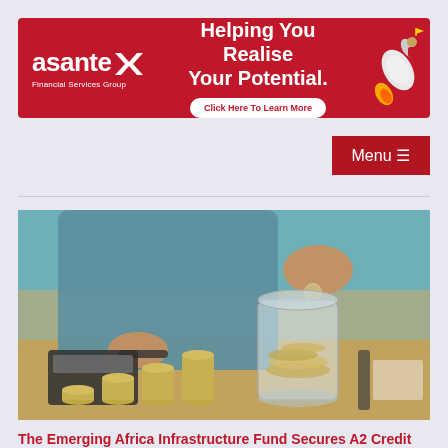[Figure (other): Asante Financial Services Group banner advertisement. Red background with white Asante logo on left, 'Helping You Realise Your Potential.' headline in center, 'Click Here To Learn More' button, and rocket illustration on right.]
[Figure (screenshot): Dark red 'Menu ≡' navigation button on the right side]
[Figure (photo): Person in blue shirt dropping a coin into a glass jar full of coins, with stacks of coins on a desk with a calculator. Warm toned savings/investment themed photo.]
The Emerging Africa Infrastructure Fund Secures A2 Credit